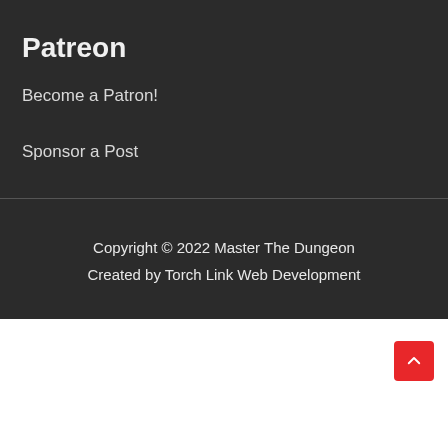Patreon
Become a Patron!
Sponsor a Post
Copyright © 2022 Master The Dungeon
Created by Torch Link Web Development